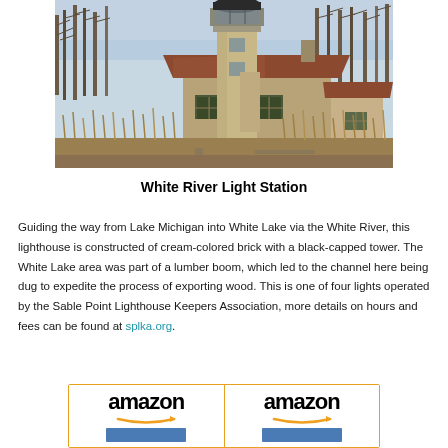[Figure (photo): Photograph of White River Light Station lighthouse with cream-colored brick tower with black cap, attached keeper's house with red/brown roof, surrounded by bare trees and tall grass in winter/late autumn conditions]
White River Light Station
Guiding the way from Lake Michigan into White Lake via the White River, this lighthouse is constructed of cream-colored brick with a black-capped tower. The White Lake area was part of a lumber boom, which led to the channel here being dug to expedite the process of exporting wood. This is one of four lights operated by the Sable Point Lighthouse Keepers Association, more details on hours and fees can be found at splka.org.
[Figure (logo): Two Amazon logo boxes side by side with orange border, showing amazon text with arrow and blue bar below]